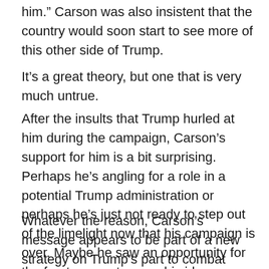him.” Carson was also insistent that the country would soon start to see more of this other side of Trump.
It’s a great theory, but one that is very much untrue.
After the insults that Trump hurled at him during the campaign, Carson’s support for him is a bit surprising. Perhaps he’s angling for a role in a potential Trump administration or perhaps he’s just not ready to step out of the limelight now that his campaign is over. Maybe he saw an opportunity for the front-runner to carry his ideas forward– according to The Hill, Trump said Carson will have a “big part” in his campaign.
Whatever the reason, Carson’s message appears to be part of a new strategy on Trump’s part to combat criticism that he’s not serious, thoughtful or of the right temperament to be president. The event with Carson...